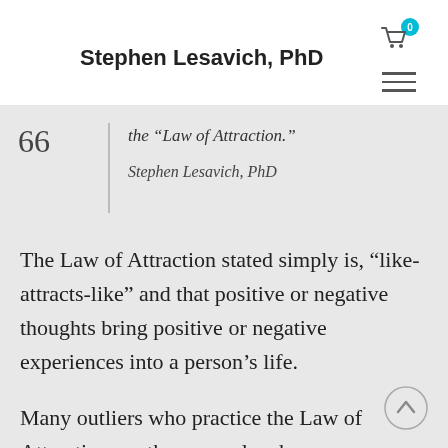Stephen Lesavich, PhD
66 the "Law of Attraction."

Stephen Lesavich, PhD
The Law of Attraction stated simply is, “like-attracts-like” and that positive or negative thoughts bring positive or negative experiences into a person’s life.
Many outliers who practice the Law of Attraction are those people who